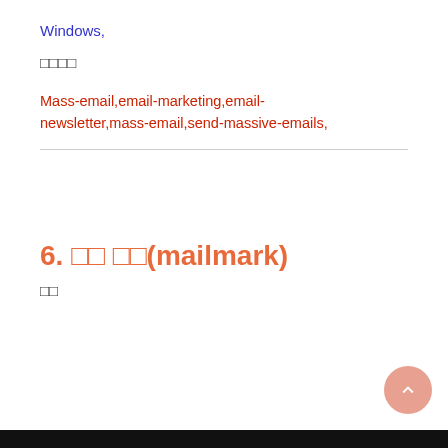Windows,
□□□□
Mass-email,email-marketing,email-newsletter,mass-email,send-massive-emails,
6. □□ □□(mailmark)
□□